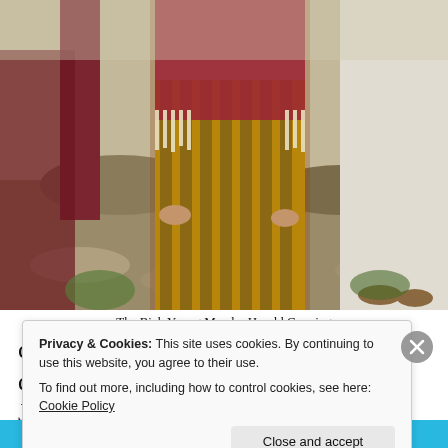[Figure (illustration): Painting of 'The Rich Young Man' by Harold Copping showing figures in ancient Middle Eastern robes, one in red/brown striped garments with fringe, another in white robes]
The Rich Young Man by Harold Copping
called to search for heaven and in doing so we will naturally avoid hell. Jesus talked more about the Kingdom of heaven more that he did about the depths of hell. Jesus gave us the positive message of the Beatitudes to follow, a
Privacy & Cookies: This site uses cookies. By continuing to use this website, you agree to their use.
To find out more, including how to control cookies, see here: Cookie Policy
Close and accept